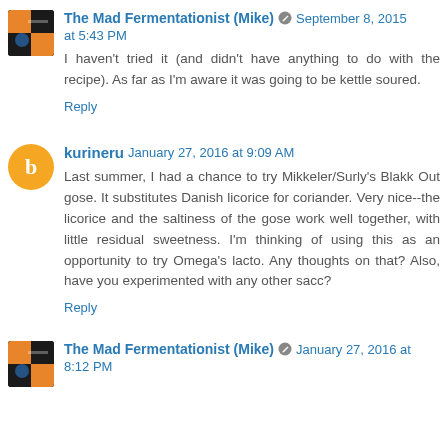The Mad Fermentationist (Mike) September 8, 2015 at 5:43 PM
I haven't tried it (and didn't have anything to do with the recipe). As far as I'm aware it was going to be kettle soured.
Reply
kurineru January 27, 2016 at 9:09 AM
Last summer, I had a chance to try Mikkeler/Surly's Blakk Out gose. It substitutes Danish licorice for coriander. Very nice--the licorice and the saltiness of the gose work well together, with little residual sweetness. I'm thinking of using this as an opportunity to try Omega's lacto. Any thoughts on that? Also, have you experimented with any other sacc?
Reply
The Mad Fermentationist (Mike) January 27, 2016 at 8:12 PM